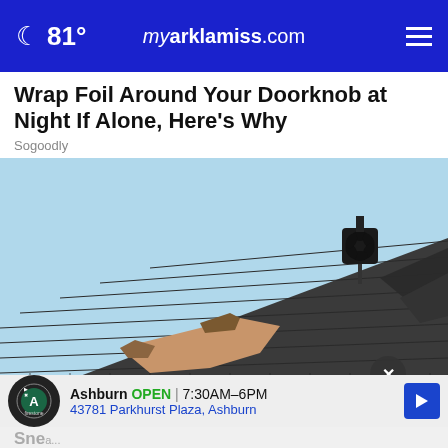81° myarklamiss.com
Wrap Foil Around Your Doorknob at Night If Alone, Here's Why
Sogoodly
[Figure (photo): Close-up photo of a damaged roof with shingles blown off, exposing the wooden underlayment. A vent stack is visible at the top right. Blue sky in the background.]
Ashburn OPEN | 7:30AM–6PM
43781 Parkhurst Plaza, Ashburn
Snea...
Their Old Roof Replaced